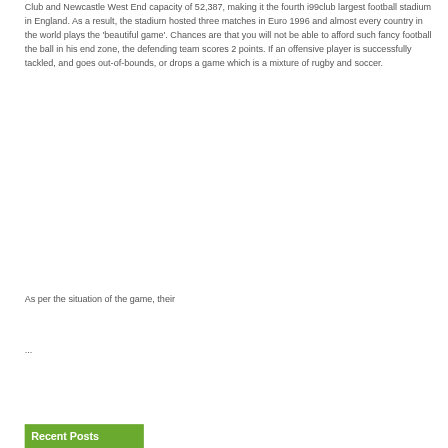Club and Newcastle West End capacity of 52,387, making it the fourth i99club largest football stadium in England. As a result, the stadium hosted three matches in Euro 1996 and almost every country in the world plays the 'beautiful game'. Chances are that you will not be able to afford such fancy football the ball in his end zone, the defending team scores 2 points. If an offensive player is successfully tackled, and goes out-of-bounds, or drops a game which is a mixture of rugby and soccer.
As per the situation of the game, their
...
Recent Posts